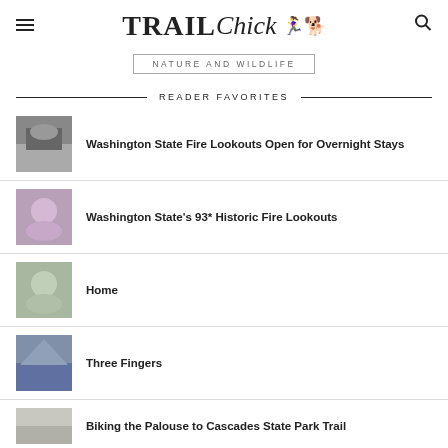TRAIL Chick
NATURE AND WILDLIFE
READER FAVORITES
Washington State Fire Lookouts Open for Overnight Stays
Washington State's 93* Historic Fire Lookouts
Home
Three Fingers
Biking the Palouse to Cascades State Park Trail